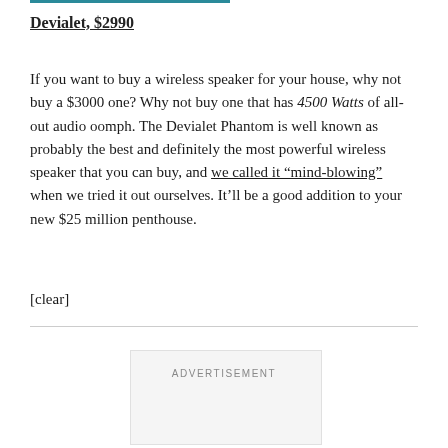Devialet, $2990
If you want to buy a wireless speaker for your house, why not buy a $3000 one? Why not buy one that has 4500 Watts of all-out audio oomph. The Devialet Phantom is well known as probably the best and definitely the most powerful wireless speaker that you can buy, and we called it “mind-blowing” when we tried it out ourselves. It’ll be a good addition to your new $25 million penthouse.
[clear]
[Figure (other): Advertisement placeholder box with ADVERTISEMENT label]